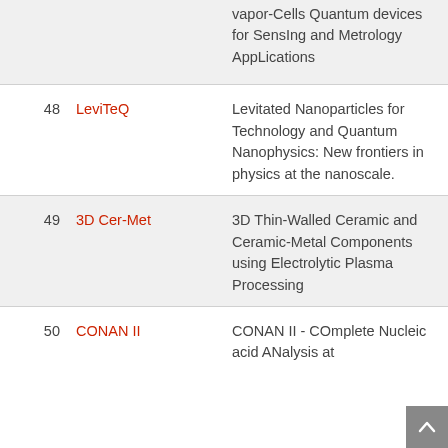| # | Name | Description | Year |
| --- | --- | --- | --- |
|  |  | vapor-Cells Quantum devices for SensIng and Metrology AppLications |  |
| 48 | LeviTeQ | Levitated Nanoparticles for Technology and Quantum Nanophysics: New frontiers in physics at the nanoscale. | 2019 |
| 49 | 3D Cer-Met | 3D Thin-Walled Ceramic and Ceramic-Metal Components using Electrolytic Plasma Processing | 2019 |
| 50 | CONAN II | CONAN II - COmplete Nucleic acid ANalysis at ... | 2018 |